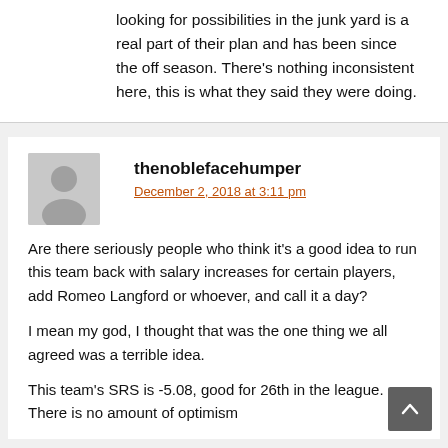looking for possibilities in the junk yard is a real part of their plan and has been since the off season. There's nothing inconsistent here, this is what they said they were doing.
thenoblefacehumper
December 2, 2018 at 3:11 pm
Are there seriously people who think it's a good idea to run this team back with salary increases for certain players, add Romeo Langford or whoever, and call it a day?
I mean my god, I thought that was the one thing we all agreed was a terrible idea.
This team's SRS is -5.08, good for 26th in the league. There is no amount of optimism